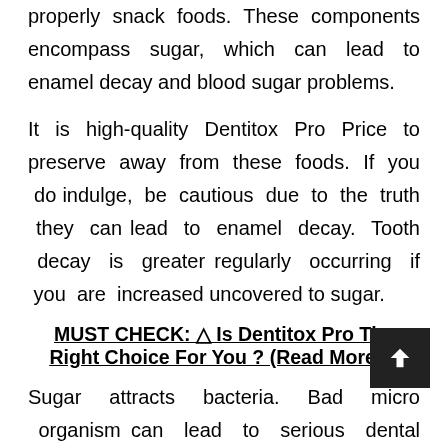properly snack foods. These components encompass sugar, which can lead to enamel decay and blood sugar problems.
It is high-quality Dentitox Pro Price to preserve away from these foods. If you do indulge, be cautious due to the truth they can lead to enamel decay. Tooth decay is greater regularly occurring if you are increased uncovered to sugar.
MUST CHECK: ⚠ Is Dentitox Pro The Right Choice For You ? (Read More...)
Sugar attracts bacteria. Bad micro organism can lead to serious dental problems, such as cavities. If you are naturally uncovered Dentitox Pro Oil Reviews to sugar, it is vital to